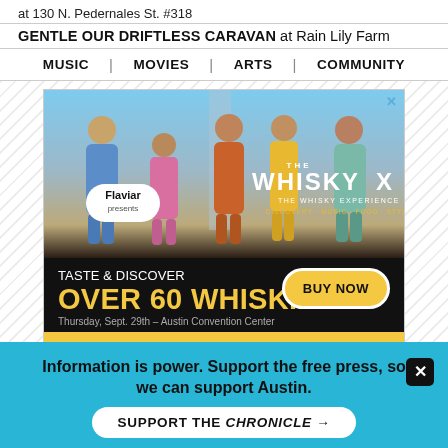at 130 N. Pedernales St. #318
GENTLE OUR DRIFTLESS CARAVAN at Rain Lily Farm
MUSIC | MOVIES | ARTS | COMMUNITY
[Figure (photo): Advertisement for The Whisky X event. Shows five men in colorful suits standing outdoors. Flaviar presents The Whisky X - The Whisky Experience. Discovery / Music / Food / Style. Taste & Discover Over 60 Whiskies. Thursday, Sept. 29th - Austin Convention Center. Buy Now button. Young the Giant Live in Concert.]
Information is power. Support the free press, so we can support Austin.
SUPPORT THE CHRONICLE →